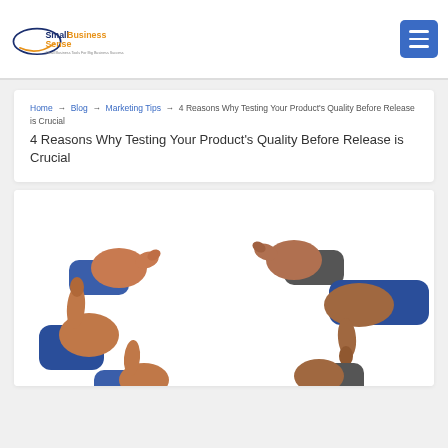SmallBusinessSense — Small Business Tools For Big Business Success
Home → Blog → Marketing Tips → 4 Reasons Why Testing Your Product's Quality Before Release is Crucial
[Figure (photo): Multiple hands showing thumbs up and thumbs down gestures on a white background, illustrating product quality feedback]